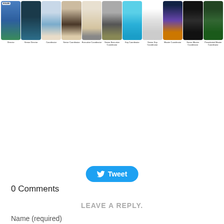[Figure (infographic): A horizontal strip of 11 photo cards representing different membership or rank levels. The first card has a '$10,608' price badge. Each card contains a lifestyle photo. Below the cards are rank labels: Director, Senior Director, Coordinator, Senior Coordinator, Executive Coordinator, Senior Executive Coordinator, Key Coordinator, Senior Key Coordinator, Master Coordinator, Senior Master Coordinator, Presidential Master Coordinator.]
[Figure (screenshot): A Twitter 'Tweet' button with bird icon on a blue rounded rectangle background.]
0 Comments
LEAVE A REPLY.
Name (required)